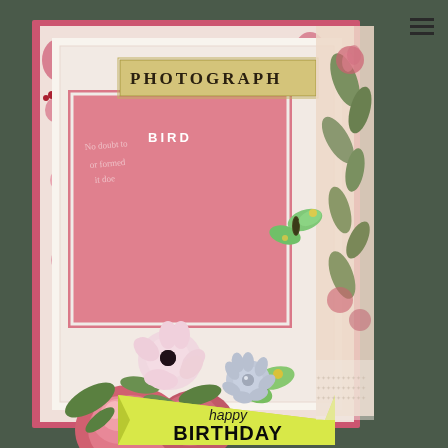[Figure (photo): A handmade birthday card featuring layered pink floral paper, a vintage 'PHOTOGRAPH' label, decorative flowers (roses, anemones), green butterflies, leaves, and a yellow-green banner reading 'happy BIRTHDAY' in bold black text. The card is photographed on a dark background.]